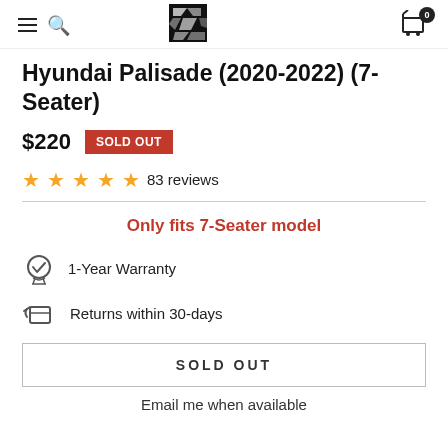CarroMats navigation header with logo, hamburger menu, search icon, and cart (0)
Hyundai Palisade (2020-2022) (7-Seater)
$220 SOLD OUT
★★★★★ 83 reviews
Only fits 7-Seater model
1-Year Warranty
Returns within 30-days
SOLD OUT
Email me when available